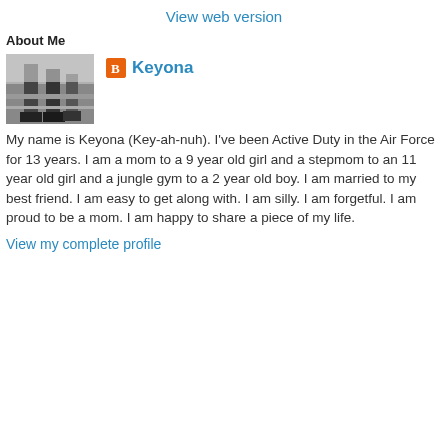View web version
About Me
[Figure (photo): Black and white photo of a person's legs and feet, possibly on steps or a bench]
Keyona
My name is Keyona (Key-ah-nuh). I've been Active Duty in the Air Force for 13 years. I am a mom to a 9 year old girl and a stepmom to an 11 year old girl and a jungle gym to a 2 year old boy. I am married to my best friend. I am easy to get along with. I am silly. I am forgetful. I am proud to be a mom. I am happy to share a piece of my life.
View my complete profile